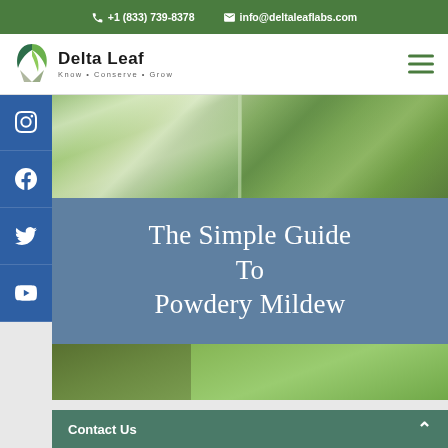+1 (833) 739-8378   info@deltaleaflabs.com
[Figure (logo): Delta Leaf Labs logo with green leaf icon and tagline Know • Conserve • Grow]
[Figure (photo): Close-up photo of plant leaves with white powdery mildew, with blue semi-transparent overlay showing text: The Simple Guide To Powdery Mildew]
The Simple Guide To Powdery Mildew
Contact Us